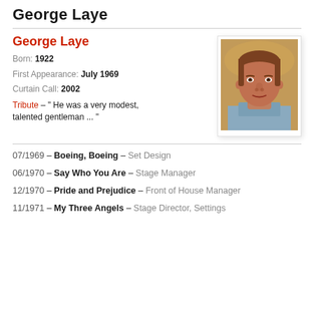George Laye
George Laye
Born: 1922
First Appearance: July 1969
Curtain Call: 2002
Tribute – " He was a very modest, talented gentleman ... "
[Figure (photo): Portrait photo of George Laye, an older man with reddish-brown hair wearing a light blue shirt, photographed against a warm-toned background.]
07/1969 – Boeing, Boeing – Set Design
06/1970 – Say Who You Are – Stage Manager
12/1970 – Pride and Prejudice – Front of House Manager
11/1971 – My Three Angels – Stage Director, Settings